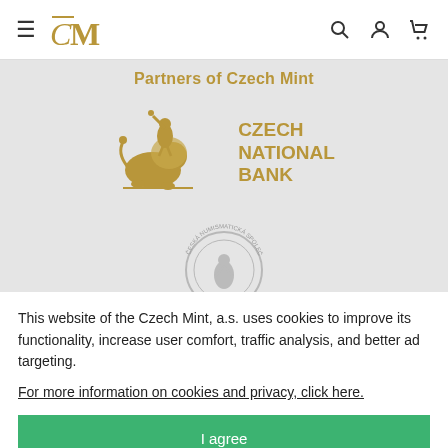Czech Mint navigation bar with hamburger menu, CM logo, search, account, and cart icons
Partners of Czech Mint
[Figure (logo): Czech National Bank logo: golden figure on lion with CZECH NATIONAL BANK text in gold]
[Figure (logo): Partial circular numismatic society logo]
This website of the Czech Mint, a.s. uses cookies to improve its functionality, increase user comfort, traffic analysis, and better ad targeting.
For more information on cookies and privacy, click here.
I agree
Detailed settings